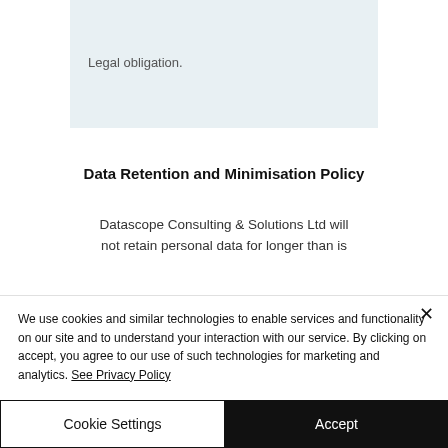Legal obligation.
Data Retention and Minimisation Policy
Datascope Consulting & Solutions Ltd will not retain personal data for longer than is
We use cookies and similar technologies to enable services and functionality on our site and to understand your interaction with our service. By clicking on accept, you agree to our use of such technologies for marketing and analytics. See Privacy Policy
Cookie Settings
Accept